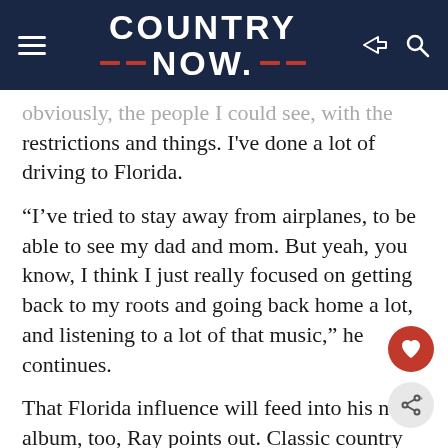COUNTRY NOW
obviously, the people I could see, with the restrictions and things. I've done a lot of driving to Florida.
“I’ve tried to stay away from airplanes, to be able to see my dad and mom. But yeah, you know, I think I just really focused on getting back to my roots and going back home a lot, and listening to a lot of that music,” he continues.
That Florida influence will feed into his new album, too, Ray points out. Classic country has always been deeply rooted in place, so much